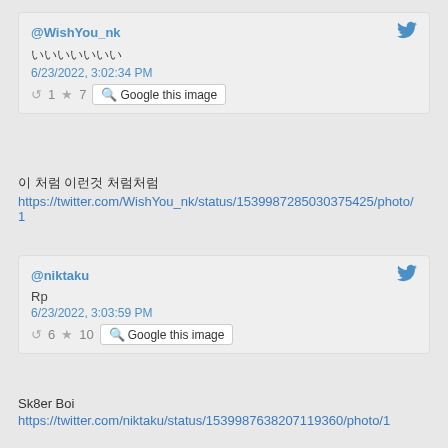@WishYou_nk | [Twitter bird icon] | [Japanese characters] | 6/23/2022, 3:02:34 PM | retweet 1 | star 7 | Google this image
이 처럼 이런것 처럼처럼
https://twitter.com/WishYou_nk/status/1539987285030375425/photo/1
@niktaku | [Twitter bird icon] | Rp | 6/23/2022, 3:03:59 PM | retweet 6 | star 10 | Google this image
Sk8er Boi
https://twitter.com/niktaku/status/1539987638207119360/photo/1